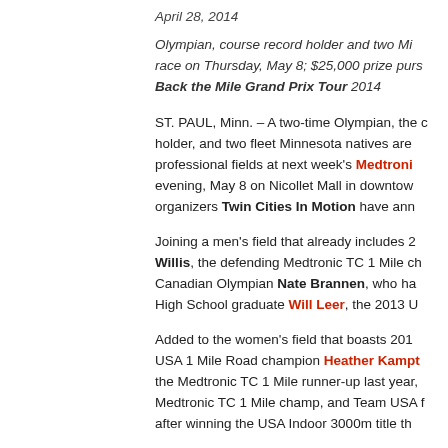April 28, 2014
Olympian, course record holder and two Mi race on Thursday, May 8; $25,000 prize purs Back the Mile Grand Prix Tour 2014
ST. PAUL, Minn. – A two-time Olympian, the course record holder, and two fleet Minnesota natives are set to headline the professional fields at next week's Medtroni evening, May 8 on Nicollet Mall in downtown organizers Twin Cities In Motion have ann
Joining a men's field that already includes 20 Willis, the defending Medtronic TC 1 Mile ch Canadian Olympian Nate Brannen, who ha High School graduate Will Leer, the 2013 U
Added to the women's field that boasts 201 USA 1 Mile Road champion Heather Kampt the Medtronic TC 1 Mile runner-up last year, Medtronic TC 1 Mile champ, and Team USA after winning the USA Indoor 3000m title th